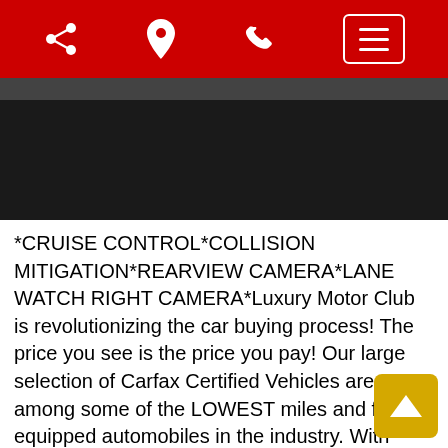[Navigation bar with share, location, phone, and menu icons]
[Figure (photo): Dark image of a car rooftop/vehicle, mostly black with a gray strip at the top]
*CRUISE CONTROL*COLLISION MITIGATION*REARVIEW CAMERA*LANE WATCH RIGHT CAMERA*Luxury Motor Club is revolutionizing the car buying process! The price you see is the price you pay! Our large selection of Carfax Certified Vehicles are among some of the LOWEST miles and fully equipped automobiles in the industry. With market setting QUALITY and PRICES THOUSANDS BELOW MARKET there is no wonder why most consumers choose us as the club of choice for their automotive needs. Take advantage of our GREAT DEALS with our rates as low as 2.99% & terms up to 84 Months. All credits welcome, all trade-ins accepted. $0 down available. Spe incentives available to all our affiliates USAA, Geico, Pen